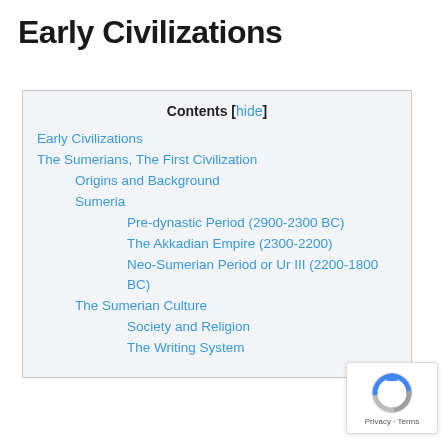Early Civilizations
| Contents [hide] |
| --- |
| Early Civilizations |
| The Sumerians, The First Civilization |
| Origins and Background |
| Sumeria |
| Pre-dynastic Period (2900-2300 BC) |
| The Akkadian Empire (2300-2200) |
| Neo-Sumerian Period or Ur III (2200-1800 BC) |
| The Sumerian Culture |
| Society and Religion |
| The Writing System |
[Figure (logo): Google reCAPTCHA badge with Privacy and Terms text]